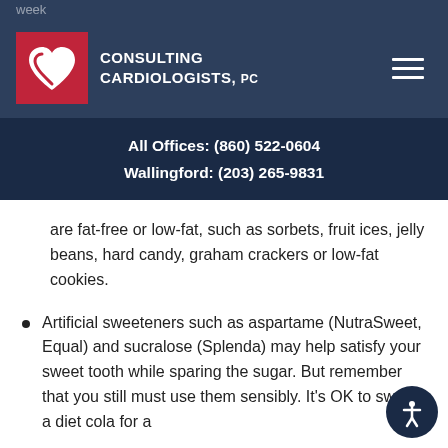week
[Figure (logo): Consulting Cardiologists PC logo with red heart on dark navy background]
All Offices: (860) 522-0604
Wallingford: (203) 265-9831
are fat-free or low-fat, such as sorbets, fruit ices, jelly beans, hard candy, graham crackers or low-fat cookies.
Artificial sweeteners such as aspartame (NutraSweet, Equal) and sucralose (Splenda) may help satisfy your sweet tooth while sparing the sugar. But remember that you still must use them sensibly. It's OK to swap a diet cola for a